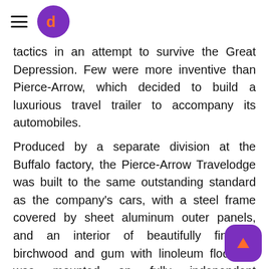[hamburger menu icon] [dh logo]
tactics in an attempt to survive the Great Depression. Few were more inventive than Pierce-Arrow, which decided to build a luxurious travel trailer to accompany its automobiles.
Produced by a separate division at the Buffalo factory, the Pierce-Arrow Travelodge was built to the same outstanding standard as the company's cars, with a steel frame covered by sheet aluminum outer panels, and an interior of beautifully finished birchwood and gum with linoleum floors. It was mounted on fully independent suspension and featured a Bendix hydraulic brake, actuated by a vacuum cylinder connected by hose to the trailering car. Three models were offered, the smallest being the 13.5-foot Mod priced at $784, with all equipment standard.